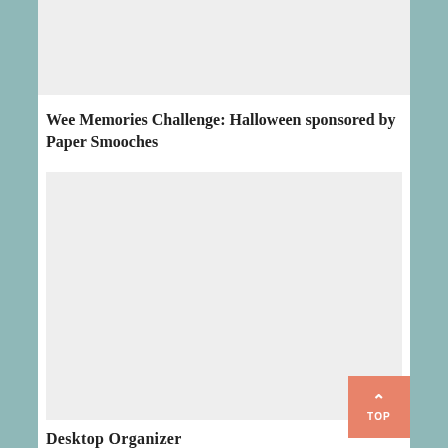[Figure (photo): Top image placeholder, light gray rectangle]
Wee Memories Challenge: Halloween sponsored by Paper Smooches
[Figure (photo): Large center image placeholder, light gray rectangle]
Desktop Organizer